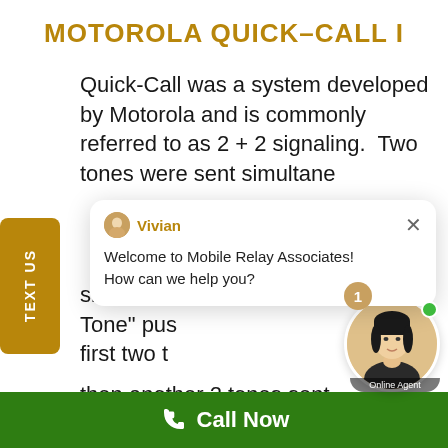MOTOROLA QUICK-CALL I
Quick-Call was a system developed by Motorola and is commonly referred to as 2 + 2 signaling.  Two tones were sent simultane similar to Tone" pus first two t then another 2 tones sent simultaneously.  This scheme was d for selective calling and was typical used by government for the fire
[Figure (screenshot): A chat popup widget showing an agent named Vivian with a message: Welcome to Mobile Relay Associates! How can we help you? with a close (X) button.]
[Figure (photo): A female online agent avatar photo with green online dot and notification badge showing number 1, and Online Agent label below.]
Call Now
TEXT US